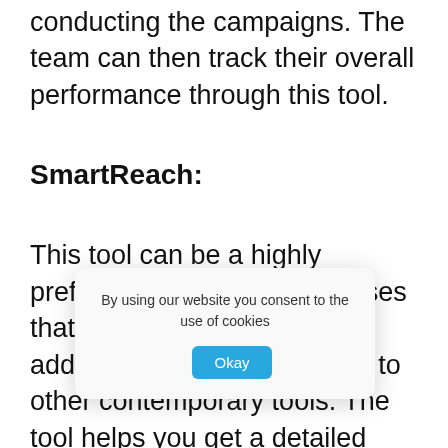conducting the campaigns. The team can then track their overall performance through this tool.
SmartReach:
This tool can be a highly preferred choice for businesses that are looking out for some added benefits as compared to other contemporary tools. The tool helps you get a detailed report on the sp... in improving... s to a great ext... sy email list validation and email warm-ups, you
By using our website you consent to the use of cookies